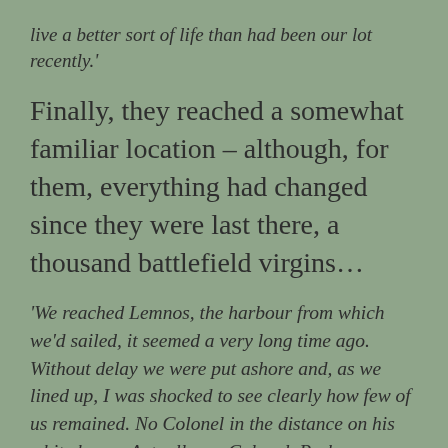live a better sort of life than had been our lot recently.'
Finally, they reached a somewhat familiar location – although, for them, everything had changed since they were last there, a thousand battlefield virgins…
'We reached Lemnos, the harbour from which we'd sailed, it seemed a very long time ago. Without delay we were put ashore and, as we lined up, I was shocked to see clearly how few of us remained. No Colonel in the distance on his white horse. Actually, no Colonel. Perhaps a couple of hundred men in all, a few Company